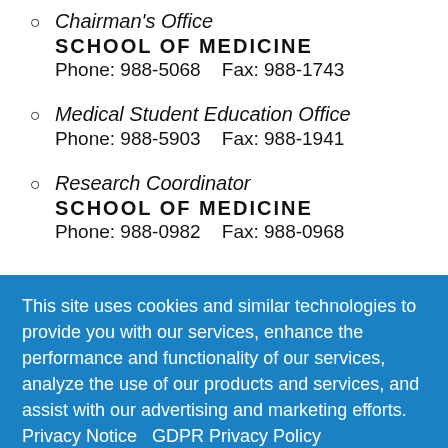Chairman's Office
SCHOOL OF MEDICINE
Phone: 988-5068    Fax: 988-1743
Medical Student Education Office
Phone: 988-5903    Fax: 988-1941
Research Coordinator
SCHOOL OF MEDICINE
Phone: 988-0982    Fax: 988-0968
This site uses cookies and similar technologies to provide you with our services, enhance the performance and functionality of our services, analyze the use of our products and services, and assist with our advertising and marketing efforts.  Privacy Notice   GDPR Privacy Policy
ACCEPT